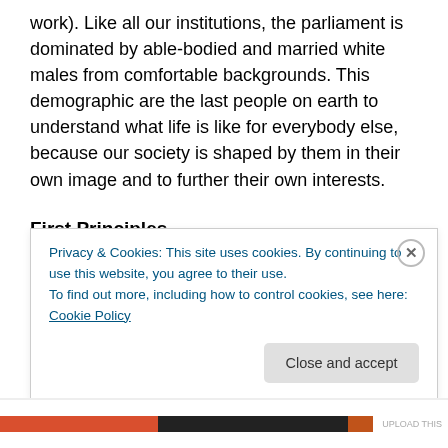work). Like all our institutions, the parliament is dominated by able-bodied and married white males from comfortable backgrounds. This demographic are the last people on earth to understand what life is like for everybody else, because our society is shaped by them in their own image and to further their own interests.
First Principles
To bring together these two strands, of real-time events and the response, this last point is crucial. Like corporations and political parties and governments (and
Privacy & Cookies: This site uses cookies. By continuing to use this website, you agree to their use.
To find out more, including how to control cookies, see here: Cookie Policy